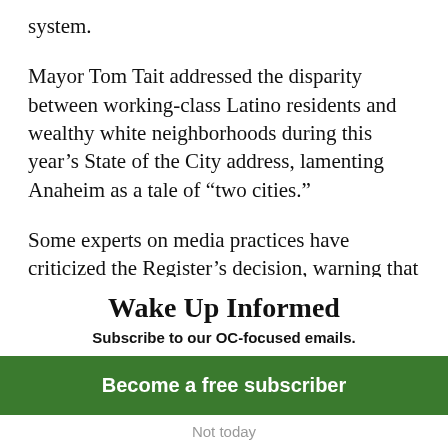system.
Mayor Tom Tait addressed the disparity between working-class Latino residents and wealthy white neighborhoods during this year's State of the City address, lamenting Anaheim as a tale of “two cities.”
Some experts on media practices have criticized the Register’s decision, warning that at the very least it gives the
Wake Up Informed
Subscribe to our OC-focused emails.
Become a free subscriber
Not today